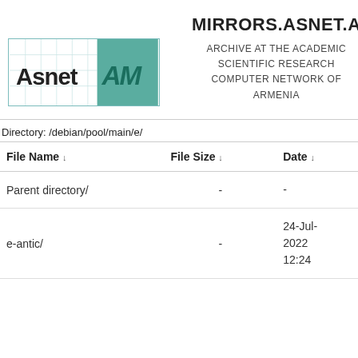MIRRORS.ASNET.A
[Figure (logo): Asnet AM logo — grid-outlined box with 'Asnet' text and teal 'AM' block]
ARCHIVE AT THE ACADEMIC SCIENTIFIC RESEARCH COMPUTER NETWORK OF ARMENIA
Directory: /debian/pool/main/e/
| File Name ↓ | File Size ↓ | Date ↓ |
| --- | --- | --- |
| Parent directory/ | - | - |
| e-antic/ | - | 24-Jul-
2022
12:24 |